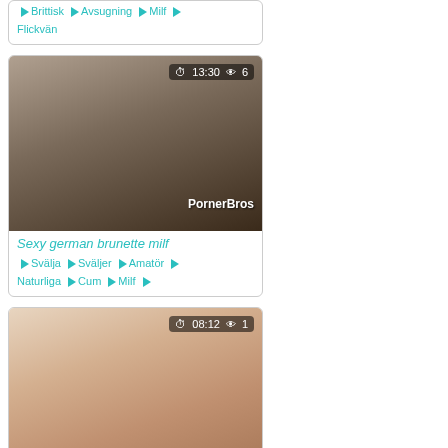♦ Brittisk ♦ Avsugning ♦ Milf ♦ Flickvän
[Figure (photo): Video thumbnail showing couple, timestamp 13:30, views 6, watermark PornerBros]
Sexy german brunette milf
♦ Svälja ♦ Sväljer ♦ Amatör ♦ Naturliga ♦ Cum ♦ Milf ♦
[Figure (photo): Video thumbnail showing blonde woman, timestamp 08:12, views 1, watermark PornerBros]
Cute Lexi Lore Stepsis fuck